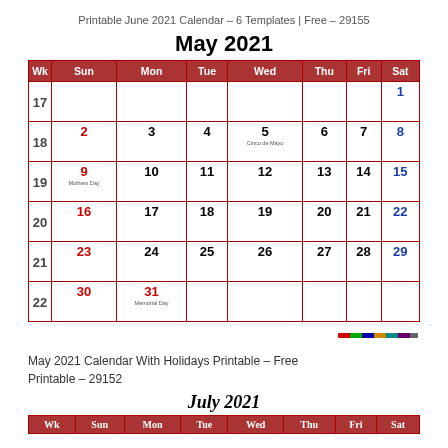Printable June 2021 Calendar – 6 Templates | Free – 29155
May 2021
| Wk | Sun | Mon | Tue | Wed | Thu | Fri | Sat |
| --- | --- | --- | --- | --- | --- | --- | --- |
| 17 |  |  |  |  |  |  | 1 |
| 18 | 2 | 3 | 4 | 5
Cinco de Mayo | 6 | 7 | 8 |
| 19 | 9
Mothers Day | 10 | 11 | 12 | 13 | 14 | 15 |
| 20 | 16 | 17 | 18 | 19 | 20 | 21 | 22 |
| 21 | 23 | 24 | 25 | 26 | 27 | 28 | 29 |
| 22 | 30 | 31
Memorial Day |  |  |  |  |  |
May 2021 Calendar With Holidays Printable – Free Printable – 29152
July 2021